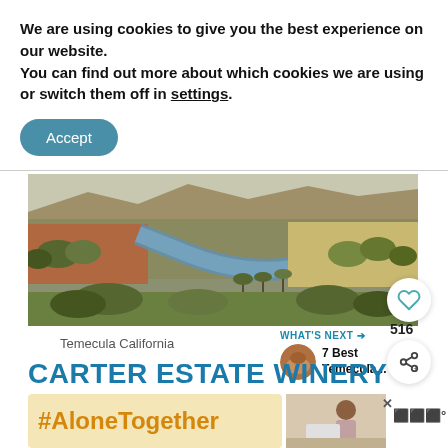We are using cookies to give you the best experience on our website.
You can find out more about which cookies we are using or switch them off in settings.
Accept
[Figure (photo): Aerial photo of Temecula California showing a river winding through a suburban landscape with palm trees, mountains in the background]
516
Temecula California
WHAT'S NEXT → 7 Best Temecula...
CARTER ESTATE WINERY
#AloneTogether
[Figure (photo): Ad photo of woman in kitchen]